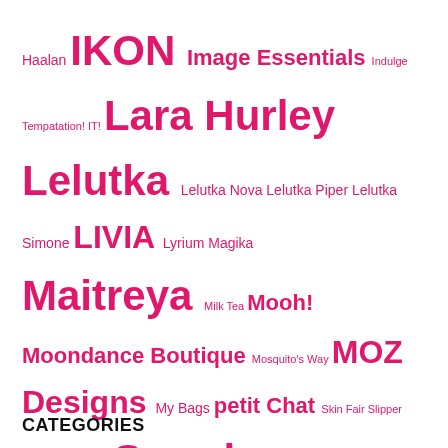Haalan IKON Image Essentials Indulge Tempatation! IT! Lara Hurley Lelutka Lelutka Nova Lelutka Piper Lelutka Simone LIVIA Lyrium Magika Maitreya Milk Tea Mooh! Moondance Boutique Mosquito's Way MOZ Designs My Bags petit Chat Skin Fair Slipper Originals Stealthic Swank Swank & Co. Swank Event Tableau Vivant The Avenue The Looking Glass Tiffany Designs Tm Creation Tonic Tonic Fine tram Truth TWE12VE Tylar's Treasures Uber Vista Animations Voir WellMade
CATEGORIES